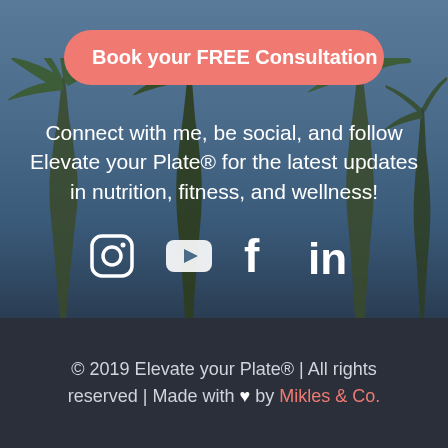[Figure (photo): Background photo of palm trees against a blue sky, used as the upper section backdrop]
Book your FREE Consultation
Connect with me, be social, and follow Elevate your Plate® for the latest updates in nutrition, fitness, and wellness!
[Figure (infographic): Social media icons row: Instagram, YouTube, Facebook, LinkedIn — white icons on transparent background]
© 2019 Elevate your Plate® | All rights reserved | Made with ♥ by Mikles & Co.